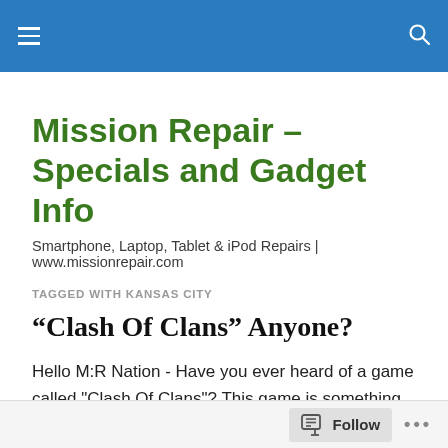Mission Repair – Specials and Gadget Info
Mission Repair – Specials and Gadget Info
Smartphone, Laptop, Tablet & iPod Repairs | www.missionrepair.com
TAGGED WITH KANSAS CITY
“Clash Of Clans” Anyone?
Hello M:R Nation - Have you ever heard of a game called "Clash Of Clans"? This game is something else. I have not only been obsessed with it since seeing a national